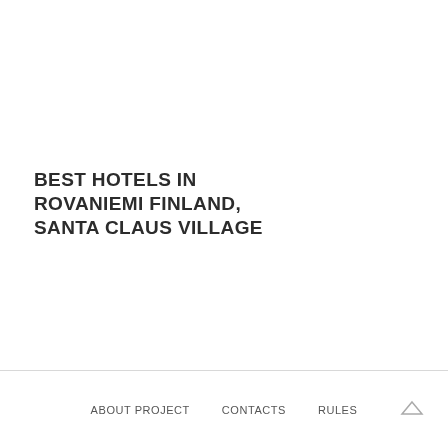BEST HOTELS IN ROVANIEMI FINLAND, SANTA CLAUS VILLAGE
ABOUT PROJECT   CONTACTS   RULES